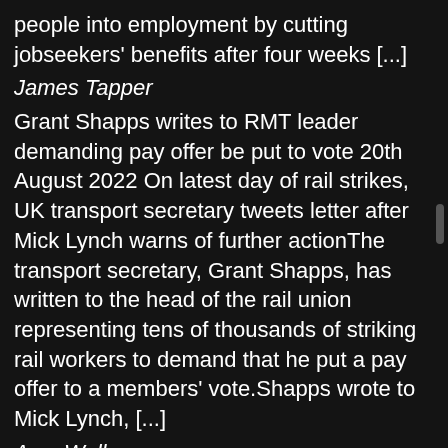people into employment by cutting jobseekers' benefits after four weeks [...]
James Tapper
Grant Shapps writes to RMT leader demanding pay offer be put to vote 20th August 2022 On latest day of rail strikes, UK transport secretary tweets letter after Mick Lynch warns of further actionThe transport secretary, Grant Shapps, has written to the head of the rail union representing tens of thousands of striking rail workers to demand that he put a pay offer to a members' vote.Shapps wrote to Mick Lynch, [...]
Amy Walker
P&O will not face criminal proceedings for mass sacking of staff 20th August 2022 Insolvency Service's decision has prompted calls for a change in the law to better protect workers in the futureP&O Ferries will not face criminal proceedings over its mass sacking of